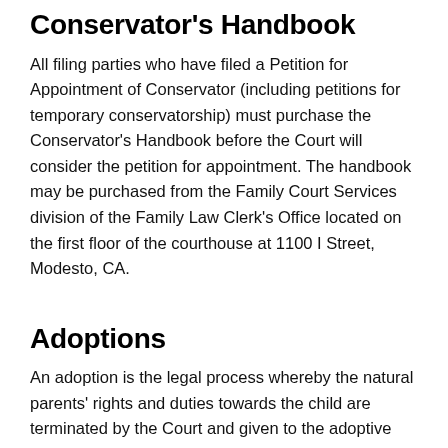Conservator's Handbook
All filing parties who have filed a Petition for Appointment of Conservator (including petitions for temporary conservatorship) must purchase the Conservator's Handbook before the Court will consider the petition for appointment. The handbook may be purchased from the Family Court Services division of the Family Law Clerk's Office located on the first floor of the courthouse at 1100 I Street, Modesto, CA.
Adoptions
An adoption is the legal process whereby the natural parents' rights and duties towards the child are terminated by the Court and given to the adoptive parents.